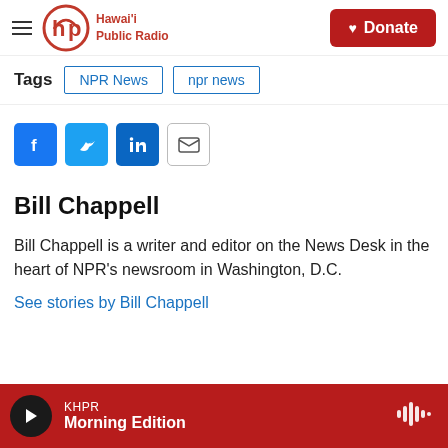Hawai'i Public Radio — Donate
Tags  NPR News  npr news
[Figure (infographic): Social sharing icons: Facebook, Twitter, LinkedIn, and Email]
Bill Chappell
Bill Chappell is a writer and editor on the News Desk in the heart of NPR's newsroom in Washington, D.C.
See stories by Bill Chappell
KHPR Morning Edition